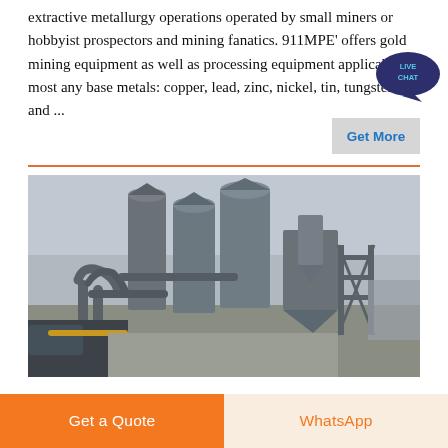extractive metallurgy operations operated by small miners or hobbyist prospectors and mining fanatics. 911MPE' offers gold mining equipment as well as processing equipment applicable to most any base metals: copper, lead, zinc, nickel, tin, tungsten and ...
[Figure (other): Live Chat bubble icon in dark purple/navy with speech bubble shape and 'LIVE CHAT' text]
Get More
[Figure (photo): Industrial mining/metallurgy facility showing large cylindrical silos, dust collectors, pipes and metal framework structures outdoors against a hazy sky]